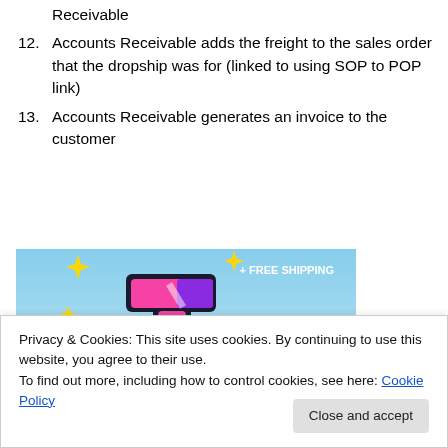Receivable
12. Accounts Receivable adds the freight to the sales order that the dropship was for (linked to using SOP to POP link)
13. Accounts Receivable generates an invoice to the customer
[Figure (illustration): Colorful logo image on blue sky background with sparkle stars and '+ FREE SHIPPING' text in upper right corner. Features a pink and purple stylized letter 't' with black outline.]
Privacy & Cookies: This site uses cookies. By continuing to use this website, you agree to their use.
To find out more, including how to control cookies, see here: Cookie Policy